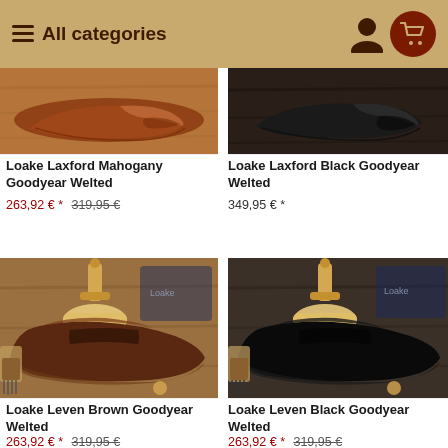☰ All categories
[Figure (photo): Loake Laxford Mahogany shoe top view on wood background]
Loake Laxford Mahogany Goodyear Welted
263,92 € * 319,95 €
[Figure (photo): Loake Laxford Black shoe top view on dark background]
Loake Laxford Black Goodyear Welted
349,95 € *
[Figure (photo): Loake Leven Brown Goodyear Welted loafer with shoe tree on wood background]
Loake Leven Brown Goodyear Welted
263,92 € * 319,95 €
[Figure (photo): Loake Leven Black Goodyear Welted loafer with shoe tree on wood background]
Loake Leven Black Goodyear Welted
263,92 € * 319,95 €